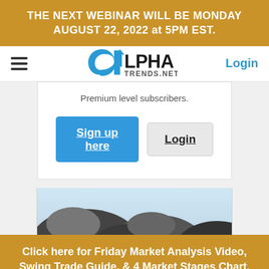THE NEXT WEBINAR WILL BE MONDAY AUGUST 22, 2022 at 5PM EST.
[Figure (logo): AlphaTrends.NET logo with alpha symbol and upward arrow, with hamburger menu on left and Login link on right]
Premium level subscribers.
[Figure (photo): Partial view of dark rocks against a light sky background]
Click here for Friday Market Analysis Video, Swing Trade Guide, & 4 Market Stages Chart.